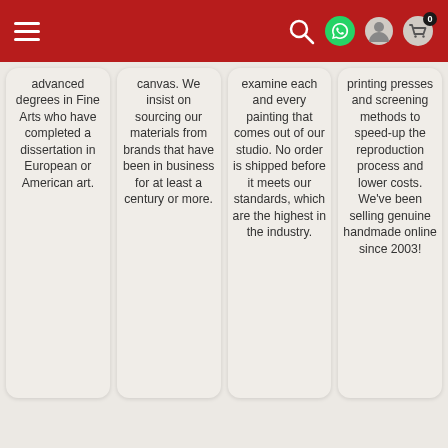Navigation bar with hamburger menu, search, WhatsApp, account, and cart (0) icons
advanced degrees in Fine Arts who have completed a dissertation in European or American art.
canvas. We insist on sourcing our materials from brands that have been in business for at least a century or more.
examine each and every painting that comes out of our studio. No order is shipped before it meets our standards, which are the highest in the industry.
printing presses and screening methods to speed-up the reproduction process and lower costs. We've been selling genuine handmade online since 2003!